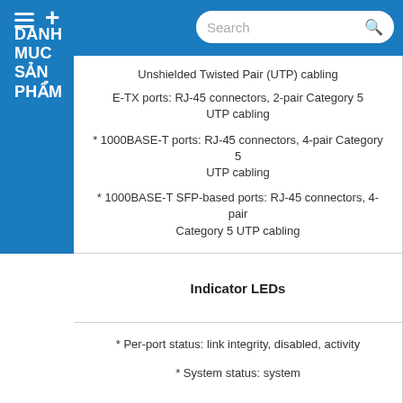DANH MUC SAN PHAM (Navigation menu with search)
Unshielded Twisted Pair (UTP) cabling
E-TX ports: RJ-45 connectors, 2-pair Category 5 UTP cabling
1000BASE-T ports: RJ-45 connectors, 4-pair Category 5 UTP cabling
1000BASE-T SFP-based ports: RJ-45 connectors, 4-pair Category 5 UTP cabling
Indicator LEDs
* Per-port status: link integrity, disabled, activity
* System status: system
Console cables